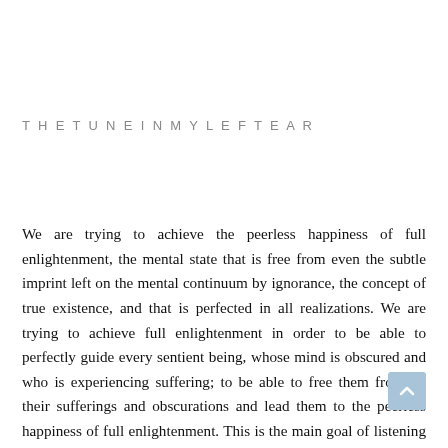THETUNEINMYLEFTEAR
We are trying to achieve the peerless happiness of full enlightenment, the mental state that is free from even the subtle imprint left on the mental continuum by ignorance, the concept of true existence, and that is perfected in all realizations. We are trying to achieve full enlightenment in order to be able to perfectly guide every sentient being, whose mind is obscured and who is experiencing suffering; to be able to free them from all their sufferings and obscurations and lead them to the peerless happiness of full enlightenment. This is the main goal of listening to, reflecting, and meditating on the path to